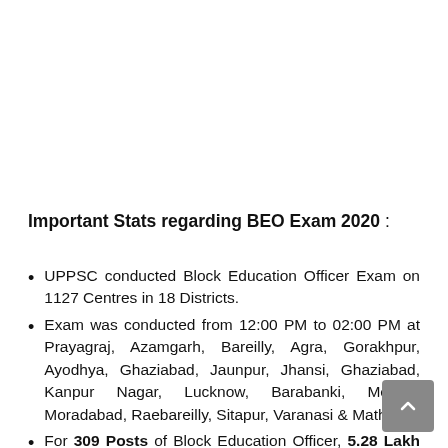Important Stats regarding BEO Exam 2020 :
UPPSC conducted Block Education Officer Exam on 1127 Centres in 18 Districts.
Exam was conducted from 12:00 PM to 02:00 PM at Prayagraj, Azamgarh, Bareilly, Agra, Gorakhpur, Ayodhya, Ghaziabad, Jaunpur, Jhansi, Ghaziabad, Kanpur Nagar, Lucknow, Barabanki, Meerut, Moradabad, Raebareilly, Sitapur, Varanasi & Mathura.
For 309 Posts of Block Education Officer, 5.28 Lakh Candidates filled form.
13 Times of Vacancies, candidates will be